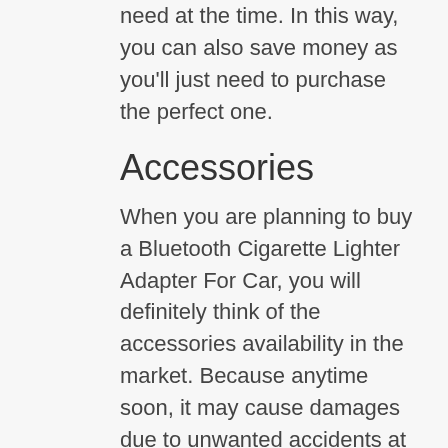need at the time. In this way, you can also save money as you'll just need to purchase the perfect one.
Accessories
When you are planning to buy a Bluetooth Cigarette Lighter Adapter For Car, you will definitely think of the accessories availability in the market. Because anytime soon, it may cause damages due to unwanted accidents at any stage of its usages.
Some products also come in bundles, where they have a combo package of the necessary items that